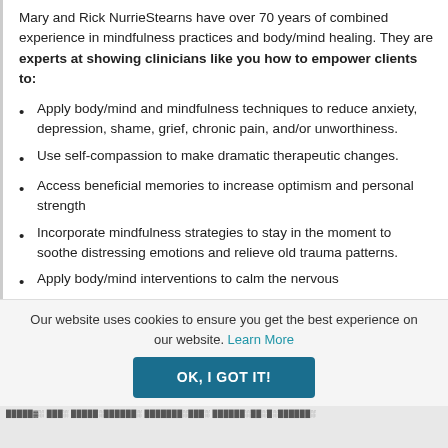Mary and Rick NurrieStearns have over 70 years of combined experience in mindfulness practices and body/mind healing. They are experts at showing clinicians like you how to empower clients to:
Apply body/mind and mindfulness techniques to reduce anxiety, depression, shame, grief, chronic pain, and/or unworthiness.
Use self-compassion to make dramatic therapeutic changes.
Access beneficial memories to increase optimism and personal strength
Incorporate mindfulness strategies to stay in the moment to soothe distressing emotions and relieve old trauma patterns.
Apply body/mind interventions to calm the nervous
Our website uses cookies to ensure you get the best experience on our website. Learn More
OK, I GOT IT!